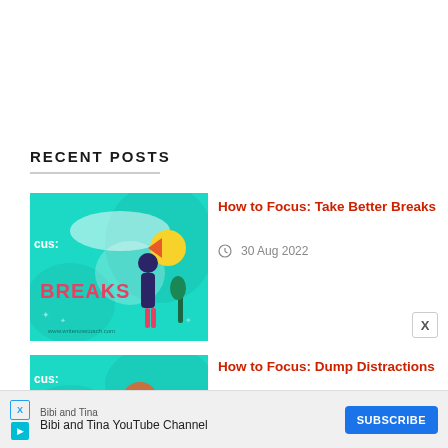RECENT POSTS
[Figure (illustration): Teal/turquoise blog post thumbnail showing a woman figure with text BREAKS and www.writenowcoach.com]
How to Focus: Take Better Breaks
30 Aug 2022
[Figure (illustration): Teal/turquoise blog post thumbnail for How to Focus: Dump Distractions]
How to Focus: Dump Distractions
23 Aug 2022
Bibi and Tina  Bibi and Tina YouTube Channel  SUBSCRIBE